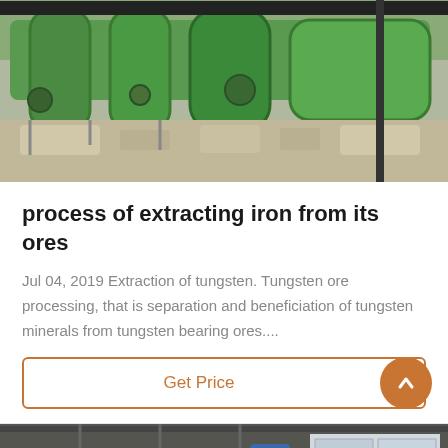[Figure (photo): Industrial machinery photo showing large green equipment with pipes and motors, outdoor industrial setting]
process of extracting iron from its ores
Jul 04, 2019 Extraction of tungsten. Tungsten ore processing, that is separation and beneficiation of tungsten minerals from tungsten bearing ores....
Get Price
[Figure (photo): Indoor industrial factory photo showing large cone-shaped processing equipment, machinery with steel framework and windows in background]
Leave Message
Chat Online